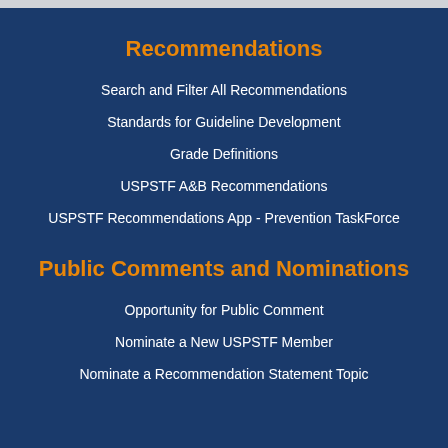Recommendations
Search and Filter All Recommendations
Standards for Guideline Development
Grade Definitions
USPSTF A&B Recommendations
USPSTF Recommendations App - Prevention TaskForce
Public Comments and Nominations
Opportunity for Public Comment
Nominate a New USPSTF Member
Nominate a Recommendation Statement Topic